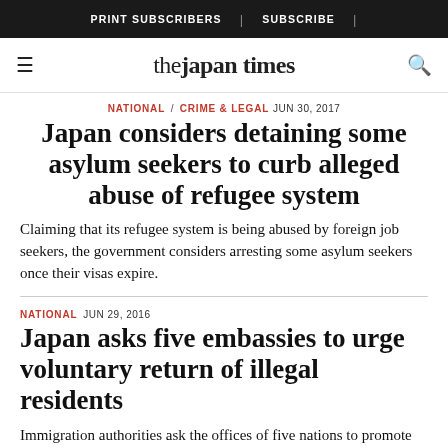PRINT SUBSCRIBERS | SUBSCRIBE |
the japan times
NATIONAL / CRIME & LEGAL JUN 30, 2017
Japan considers detaining some asylum seekers to curb alleged abuse of refugee system
Claiming that its refugee system is being abused by foreign job seekers, the government considers arresting some asylum seekers once their visas expire.
NATIONAL JUN 29, 2016
Japan asks five embassies to urge voluntary return of illegal residents
Immigration authorities ask the offices of five nations to promote voluntary repatriation of their overstaying